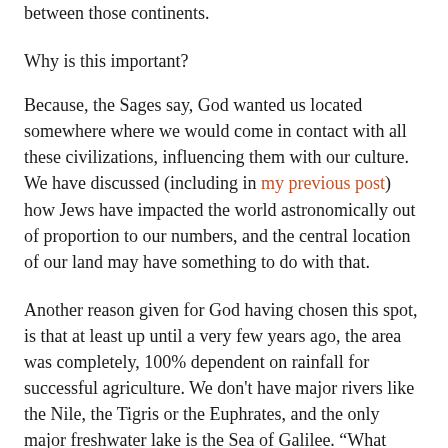between those continents.
Why is this important?
Because, the Sages say, God wanted us located somewhere where we would come in contact with all these civilizations, influencing them with our culture. We have discussed (including in my previous post) how Jews have impacted the world astronomically out of proportion to our numbers, and the central location of our land may have something to do with that.
Another reason given for God having chosen this spot, is that at least up until a very few years ago, the area was completely, 100% dependent on rainfall for successful agriculture. We don't have major rivers like the Nile, the Tigris or the Euphrates, and the only major freshwater lake is the Sea of Galilee. “What about the Jordan River?” you may ask. You didn’t get a chance to see it